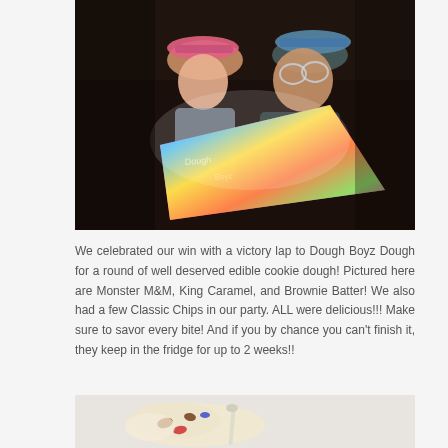[Figure (photo): Two children wearing hats looking at a colorful illuminated book or display in a dark room]
We celebrated our win with a victory lap to Dough Boyz Dough for a round of well deserved edible cookie dough! Pictured here are Monster M&M, King Caramel, and Brownie Batter! We also had a few Classic Chips in our party. ALL were delicious!!! Make sure to savor every bite! And if you by chance you can't finish it, they keep in the fridge for up to 2 weeks!!
[Figure (photo): Close-up of edible cookie dough with toppings on a light background]